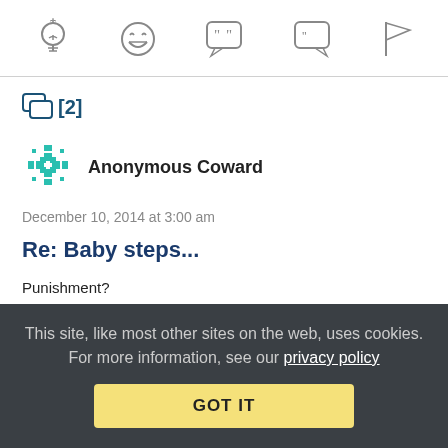[Figure (infographic): Toolbar with five icons: lightbulb, laughing emoji, speech bubble with quote marks, speech bubble with double quote marks, and a flag icon]
[2]
[Figure (illustration): Teal pixel-art snowflake-like avatar icon for Anonymous Coward]
Anonymous Coward
December 10, 2014 at 3:00 am
Re: Baby steps...
Punishment?
You mean as in “The Hague International Criminal Court”?
This site, like most other sites on the web, uses cookies. For more information, see our privacy policy
GOT IT